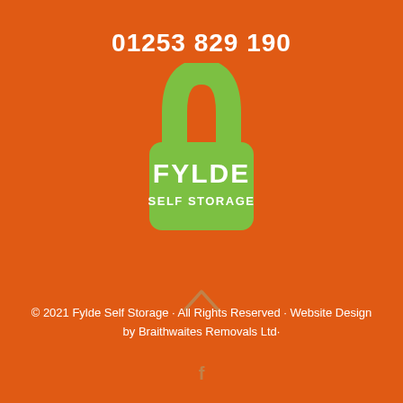01253 829 190
[Figure (logo): Fylde Self Storage padlock logo in green with white text reading FYLDE SELF STORAGE]
[Figure (other): Upward chevron/caret arrow icon in white]
© 2021 Fylde Self Storage · All Rights Reserved · Website Design by Braithwaites Removals Ltd·
[Figure (other): Facebook social media icon in white]